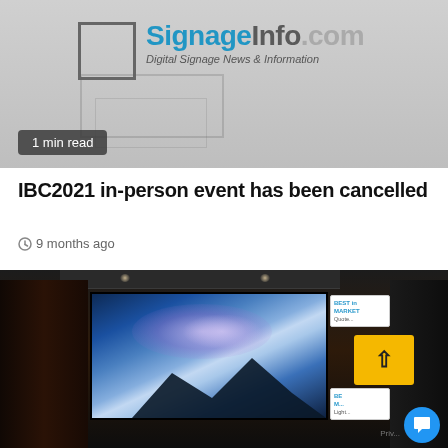[Figure (photo): SignageInfo.com logo on gray background — website header with digital screen outline, blue and gray text reading 'SignageInfo.com Digital Signage News & Information']
1 min read
IBC2021 in-person event has been cancelled
9 months ago
[Figure (photo): Dark home theater room with large LED display showing a mountain and galaxy/nebula landscape. Side panels of dark wood visible. Overlay UI elements including a yellow scroll-to-top button and a blue chat widget.]